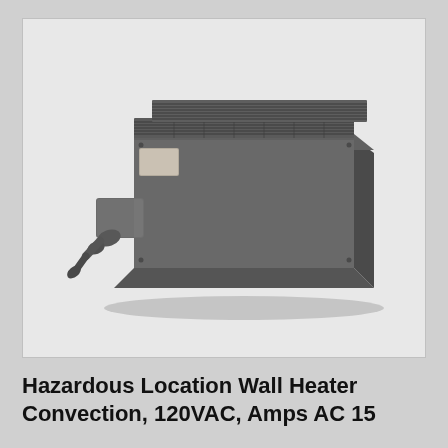[Figure (photo): Product photo of a Hazardous Location Wall Heater — a large dark gray rectangular metal convection unit with a louvered grille on top, mounted horizontally, with a conduit junction box protruding from the left side.]
Hazardous Location Wall Heater Convection, 120VAC, Amps AC 15